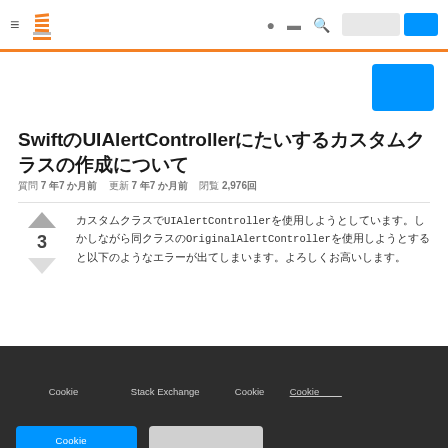Stack Overflow navigation header
SwiftのUIAlertControllerに関するカスタムクラスの作成について
質問 7 年7 か月前 更新 7 年7 か月前 閲覧 2,976回
カスタムクラスでUIAlertControllerを使用しようとしています。しかしながら同クラスのOriginalAlertControllerを使用しようとすると以下のようなエラーが出てしまいます。よろしくお願いします。
[Figure (screenshot): Cookie consent overlay on dark background with accept and settings buttons]
initializer of the superclassについての...